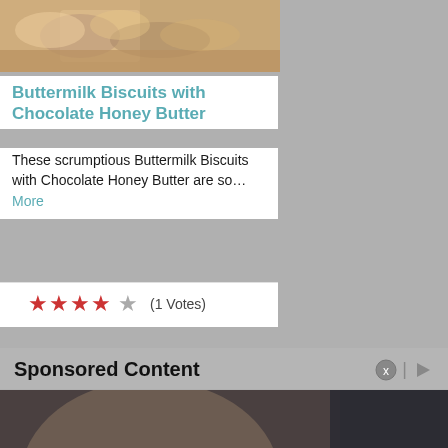[Figure (photo): Close-up photo of buttermilk biscuits with chocolate honey butter]
Buttermilk Biscuits with Chocolate Honey Butter
These scrumptious Buttermilk Biscuits with Chocolate Honey Butter are so… More
★★★★☆ (1 Votes)
Sponsored Content
[Figure (photo): Sponsored content advertisement image showing an elderly man's face and an Insurance Company Medicare card with date 04 09 19, number 0001234, overlaid with a dark video player UI showing play controls and a mute icon]